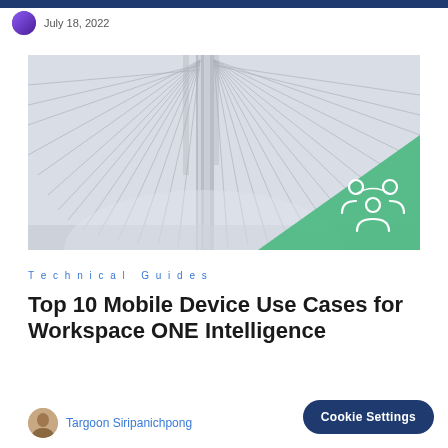July 18, 2022
[Figure (photo): Close-up architectural photo of a cable-stayed bridge from below, showing white cables radiating diagonally, with a green triangle overlay in the bottom-right corner featuring a white icon of people/group]
Technical Guides
Top 10 Mobile Device Use Cases for Workspace ONE Intelligence
Targoon Siripanichpong
Cookie Settings